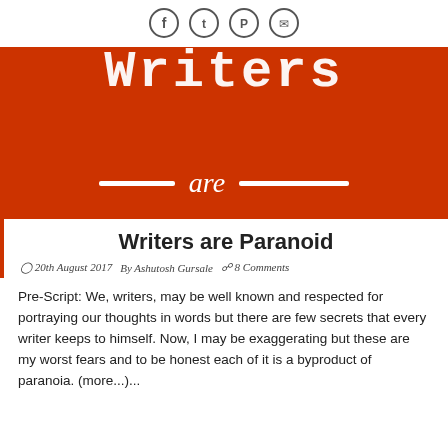[Figure (illustration): Social media share icons (Facebook, Twitter, Pinterest, Email) as circular outlined buttons in a row]
[Figure (photo): Red/orange background image with white handwritten-style text reading 'Writers' at top (partially visible) and '— are —' with horizontal lines in the middle]
Writers are Paranoid
20th August 2017   By Ashutosh Gursale   8 Comments
Pre-Script: We, writers, may be well known and respected for portraying our thoughts in words but there are few secrets that every writer keeps to himself. Now, I may be exaggerating but these are my worst fears and to be honest each of it is a byproduct of paranoia. (more...)...